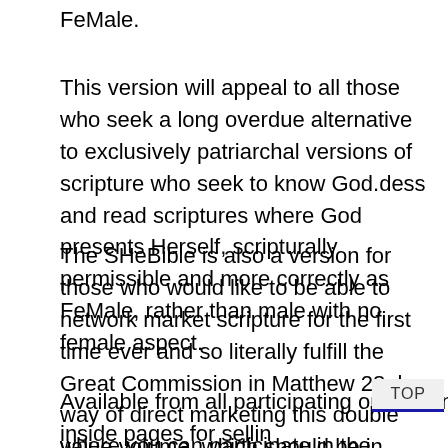FeMale.
This version will appeal to all those who seek a long overdue alternative to exclusively patriarchal versions of scripture who seek to know God.dess and read scriptures where God presents Herself, scripturally permissible and more correctly as FeMale, rather than male with no female aspect.
The SHeBible is also a version for those who would like to be able to network market scripture for the first time ever and so literally fulfill the Great Commission in Matthew 28, by way of direct marketing this double value volume, which should be in everyone's hands.
Available from all participating outlets and voluntary direct sellers. Please see inside pages for selling where you can participate in the foundation and expansion of this alternate rendition and superior line of